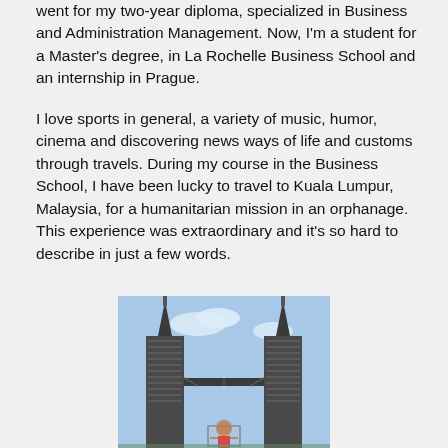went for my two-year diploma, specialized in Business and Administration Management. Now, I'm a student for a Master's degree, in La Rochelle Business School and an internship in Prague.
I love sports in general, a variety of music, humor, cinema and discovering news ways of life and customs through travels. During my course in the Business School, I have been lucky to travel to Kuala Lumpur, Malaysia, for a humanitarian mission in an orphanage. This experience was extraordinary and it's so hard to describe in just a few words.
[Figure (photo): Photo of a person standing in front of the Petronas Twin Towers in Kuala Lumpur, Malaysia, taken from a low angle looking up.]